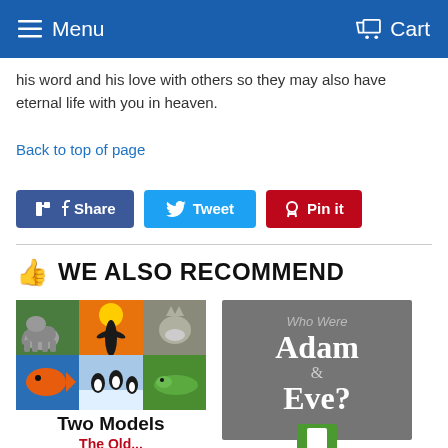Menu  Cart
his word and his love with others so they may also have eternal life with you in heaven.
Back to top of page
[Figure (screenshot): Social share buttons: Share (Facebook, blue), Tweet (Twitter, light blue), Pin it (Pinterest, red)]
WE ALSO RECOMMEND
[Figure (photo): Book cover: Two Models — collage of nature photos (elephant, bird silhouette, wolf, fish, penguins, lizard); title 'Two Models' in bold black text below]
[Figure (photo): Book cover: 'Who Were Adam & Eve?' — gray background with white styled text]